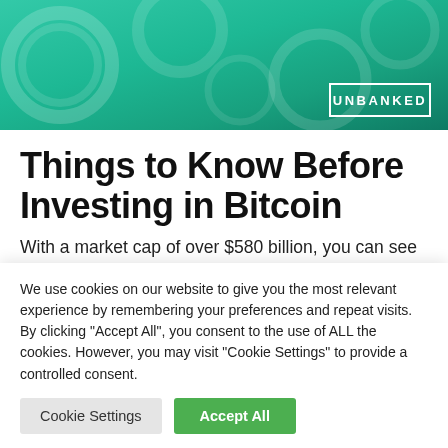[Figure (photo): Header banner with teal/green gradient background and coins imagery, with UNBANKED logo in bottom right corner]
Things to Know Before Investing in Bitcoin
With a market cap of over $580 billion, you can see why Bitcoin has become the big...
We use cookies on our website to give you the most relevant experience by remembering your preferences and repeat visits. By clicking "Accept All", you consent to the use of ALL the cookies. However, you may visit "Cookie Settings" to provide a controlled consent.